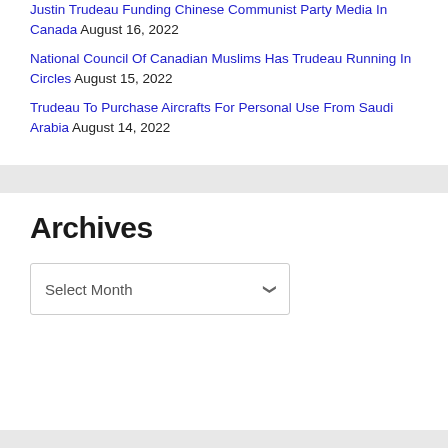Justin Trudeau Funding Chinese Communist Party Media In Canada August 16, 2022
National Council Of Canadian Muslims Has Trudeau Running In Circles August 15, 2022
Trudeau To Purchase Aircrafts For Personal Use From Saudi Arabia August 14, 2022
Archives
Select Month